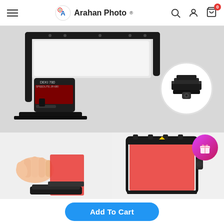Arahan Photo
[Figure (photo): Camera flash speedlite mounted on a bracket/holder accessory, with an inset circular close-up of the hot shoe mount adapter]
[Figure (photo): Two bottom product images: left shows hands inserting a red color gel filter into a holder; right shows a camera flash with red gel filter attached, with a pink gift badge overlay]